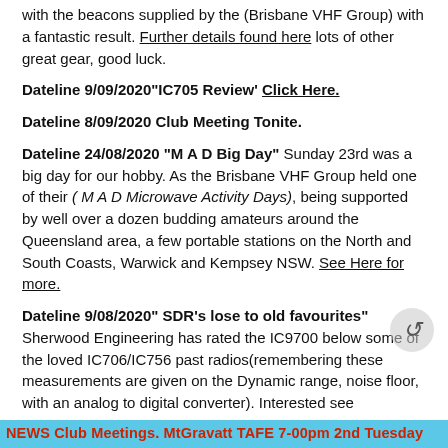with the beacons supplied by the (Brisbane VHF Group) with a fantastic result. Further details found here lots of other great gear, good luck.
Dateline 9/09/2020"IC705 Review' Click Here.
Dateline 8/09/2020 Club Meeting Tonite.
Dateline 24/08/2020 "M A D Big Day" Sunday 23rd was a big day for our hobby. As the Brisbane VHF Group held one of their ( M A D Microwave Activity Days), being supported by well over a dozen budding amateurs around the Queensland area, a few portable stations on the North and South Coasts, Warwick and Kempsey NSW. See Here for more.
Dateline 9/08/2020" SDR’s lose to old favourites" Sherwood Engineering has rated the IC9700 below some of the loved IC706/IC756 past radios(remembering these measurements are given on the Dynamic range, noise floor, with an analog to digital converter). Interested see
NEWS Club Meetings. MtGravatt TAFE 7-00pm 2nd Tuesday